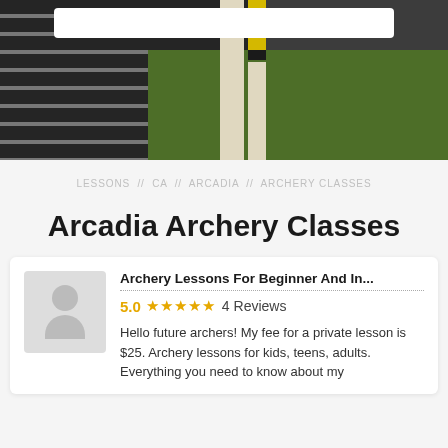[Figure (photo): Hero photo showing a person in a striped shirt near archery equipment, with a yellow and black post/marker and green grass background]
LESSONS // CA // ARCADIA // ARCHERY CLASSES
Arcadia Archery Classes
Archery Lessons For Beginner And In...
5.0 ★★★★★ 4 Reviews
Hello future archers! My fee for a private lesson is $25. Archery lessons for kids, teens, adults. Everything you need to know about my